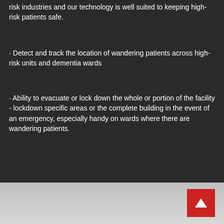risk industries and our technology is well suited to keeping high-risk patients safe.
· Detect and track the location of wandering patients across high-risk units and dementia wards
· Ability to evacuate or lock down the whole or portion of the facility - lockdown specific areas or the complete building in the event of an emergency, especially handy on wards where there are wandering patients.
[Figure (other): Red button with white up arrow for navigation]